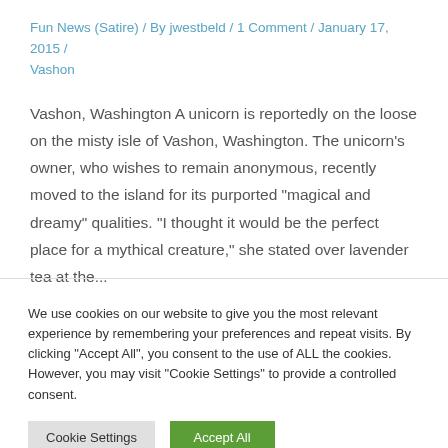Fun News (Satire) / By jwestbeld / 1 Comment / January 17, 2015 / Vashon
Vashon, Washington A unicorn is reportedly on the loose on the misty isle of Vashon, Washington. The unicorn's owner, who wishes to remain anonymous, recently moved to the island for its purported “magical and dreamy” qualities. “I thought it would be the perfect place for a mythical creature,” she stated over lavender tea at the...
We use cookies on our website to give you the most relevant experience by remembering your preferences and repeat visits. By clicking “Accept All”, you consent to the use of ALL the cookies. However, you may visit “Cookie Settings” to provide a controlled consent.